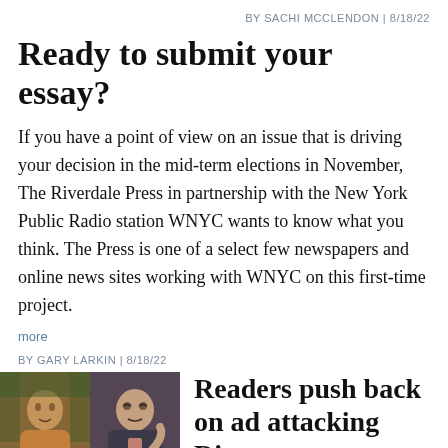BY SACHI MCCLENDON | 8/18/22
Ready to submit your essay?
If you have a point of view on an issue that is driving your decision in the mid-term elections in November, The Riverdale Press in partnership with the New York Public Radio station WNYC wants to know what you think. The Press is one of a select few newspapers and online news sites working with WNYC on this first-time project.
more
BY GARY LARKIN | 8/18/22
[Figure (photo): Two side-by-side portrait photos: a woman on the left and a man on the right]
Readers push back on ad attacking Rivera senate run